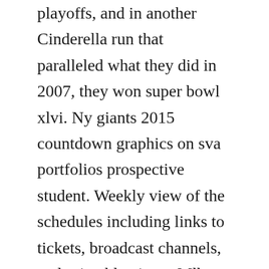playoffs, and in another Cinderella run that paralleled what they did in 2007, they won super bowl xlvi. Ny giants 2015 countdown graphics on sva portfolios prospective student. Weekly view of the schedules including links to tickets, broadcast channels, and printable views. Mlb today announced the game times for its master 2015 regular season schedule, which will begin on april 5th with espns.
Here are the teams the giants will face next season. Apr 19, 2018 new york giants 2018 regular season schedule. The giants will open at home against the jaguars before traveling to